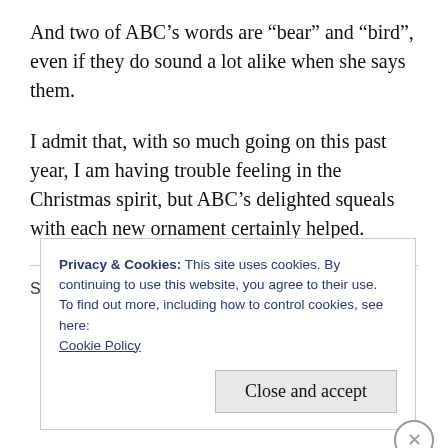And two of ABC’s words are “bear” and “bird”, even if they do sound a lot alike when she says them.
I admit that, with so much going on this past year, I am having trouble feeling in the Christmas spirit, but ABC’s delighted squeals with each new ornament certainly helped.
Share this:
Privacy & Cookies: This site uses cookies. By continuing to use this website, you agree to their use.
To find out more, including how to control cookies, see here:
Cookie Policy
Close and accept